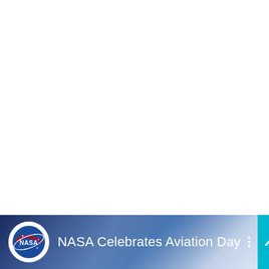[Figure (screenshot): White blank area occupying the top portion of the page]
[Figure (logo): NASA app banner at the bottom showing NASA meatball logo, title 'NASA Celebrates Aviation Day', a three-dot menu icon, and a teal scroll-up button]